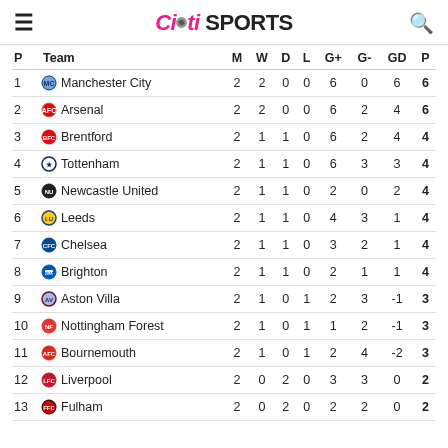Citi SPORTS
| P | Team | M | W | D | L | G+ | G- | GD | P |
| --- | --- | --- | --- | --- | --- | --- | --- | --- | --- |
| 1 | Manchester City | 2 | 2 | 0 | 0 | 6 | 0 | 6 | 6 |
| 2 | Arsenal | 2 | 2 | 0 | 0 | 6 | 2 | 4 | 6 |
| 3 | Brentford | 2 | 1 | 1 | 0 | 6 | 2 | 4 | 4 |
| 4 | Tottenham | 2 | 1 | 1 | 0 | 6 | 3 | 3 | 4 |
| 5 | Newcastle United | 2 | 1 | 1 | 0 | 2 | 0 | 2 | 4 |
| 6 | Leeds | 2 | 1 | 1 | 0 | 4 | 3 | 1 | 4 |
| 7 | Chelsea | 2 | 1 | 1 | 0 | 3 | 2 | 1 | 4 |
| 8 | Brighton | 2 | 1 | 1 | 0 | 2 | 1 | 1 | 4 |
| 9 | Aston Villa | 2 | 1 | 0 | 1 | 2 | 3 | -1 | 3 |
| 10 | Nottingham Forest | 2 | 1 | 0 | 1 | 1 | 2 | -1 | 3 |
| 11 | Bournemouth | 2 | 1 | 0 | 1 | 2 | 4 | -2 | 3 |
| 12 | Liverpool | 2 | 0 | 2 | 0 | 3 | 3 | 0 | 2 |
| 13 | Fulham | 2 | 0 | 2 | 0 | 2 | 2 | 0 | 2 |